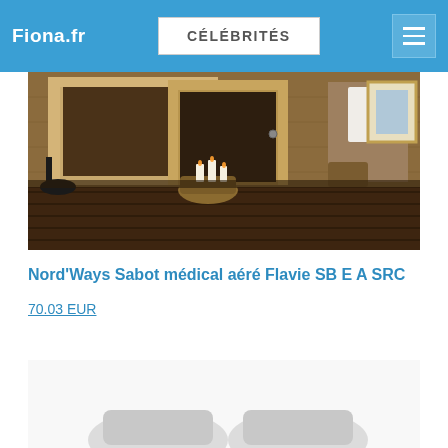Fiona.fr | CÉLÉBRITÉS
[Figure (photo): Sauna or spa room with wooden door frames, candles, dark hardwood floor, and towel/accessories visible]
Nord'Ways Sabot médical aéré Flavie SB E A SRC
70.03 EUR
[Figure (photo): Partially visible product photo at bottom of page]